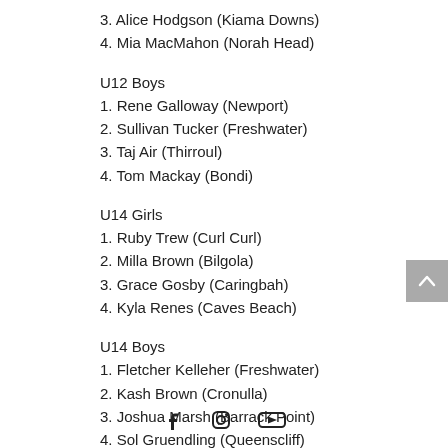3. Alice Hodgson (Kiama Downs)
4. Mia MacMahon (Norah Head)
U12 Boys
1. Rene Galloway (Newport)
2. Sullivan Tucker (Freshwater)
3. Taj Air (Thirroul)
4. Tom Mackay (Bondi)
U14 Girls
1. Ruby Trew (Curl Curl)
2. Milla Brown (Bilgola)
3. Grace Gosby (Caringbah)
4. Kyla Renes (Caves Beach)
U14 Boys
1. Fletcher Kelleher (Freshwater)
2. Kash Brown (Cronulla)
3. Joshua Marsh (Barrack Point)
4. Sol Gruendling (Queenscliff)
[Figure (other): Social media icons: Facebook, Instagram, YouTube]